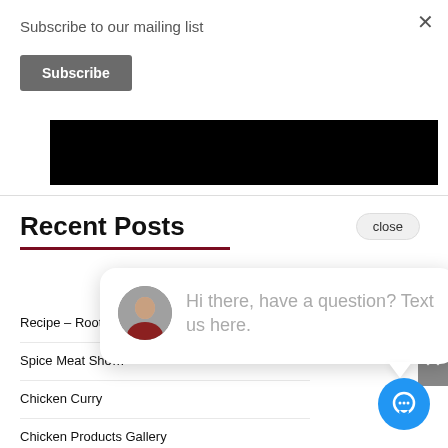Subscribe to our mailing list
Subscribe
[Figure (photo): Black rectangular image band]
Recent Posts
close
Recipe – Root B…
Spice Meat Sho…
Chicken Curry
Chicken Products Gallery
Indian-Style Chicken Patties
[Figure (screenshot): Chat popup bubble with avatar photo of a woman and text: Hi there, have a question? Text us here.]
[Figure (illustration): Blue circular chat icon button]